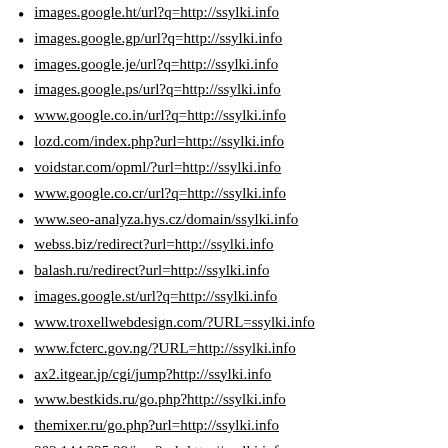images.google.ht/url?q=http://ssylki.info
images.google.gp/url?q=http://ssylki.info
images.google.je/url?q=http://ssylki.info
images.google.ps/url?q=http://ssylki.info
www.google.co.in/url?q=http://ssylki.info
lozd.com/index.php?url=http://ssylki.info
voidstar.com/opml/?url=http://ssylki.info
www.google.co.cr/url?q=http://ssylki.info
www.seo-analyza.hys.cz/domain/ssylki.info
webss.biz/redirect?url=http://ssylki.info
balash.ru/redirect?url=http://ssylki.info
images.google.st/url?q=http://ssylki.info
www.troxellwebdesign.com/?URL=ssylki.info
www.fcterc.gov.ng/?URL=http://ssylki.info
ax2.itgear.jp/cgi/jump?http://ssylki.info
www.bestkids.ru/go.php?http://ssylki.info
themixer.ru/go.php?url=http://ssylki.info
202.144.225.38/jmp?url=http://ssylki.info
www.seniorclassaward.com/?URL=ssylki.info